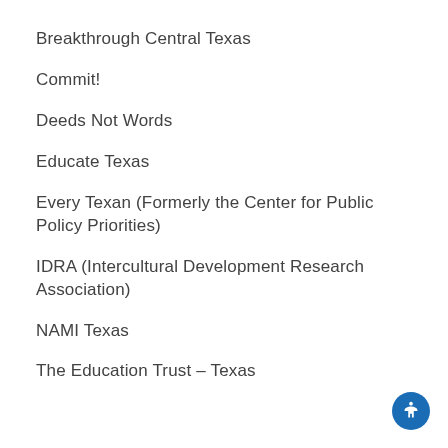Breakthrough Central Texas
Commit!
Deeds Not Words
Educate Texas
Every Texan (Formerly the Center for Public Policy Priorities)
IDRA (Intercultural Development Research Association)
NAMI Texas
The Education Trust – Texas